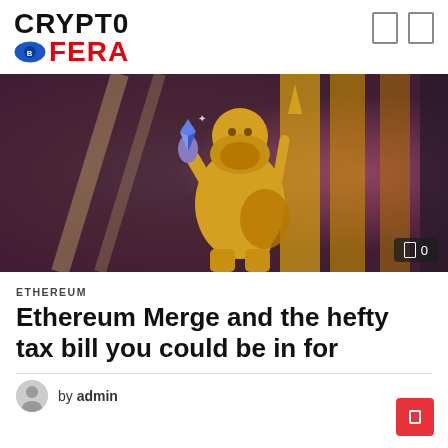[Figure (logo): Cryptofera logo with eye icon: CRYPTO in black bold text, eye icon with B label, FERA in red bold text]
[Figure (illustration): Golden Greek god (Zeus) statue holding a small Ethereum logo figure, illustrated digital artwork with gold and purple tones]
ETHEREUM
Ethereum Merge and the hefty tax bill you could be in for
by admin